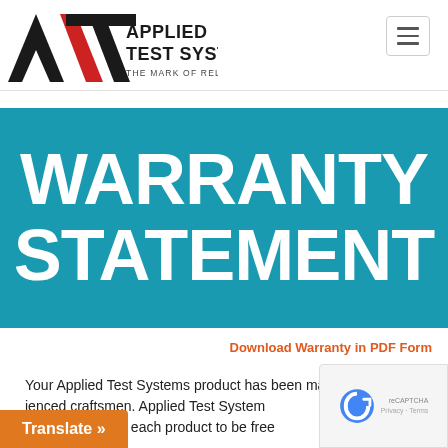[Figure (logo): Applied Test Systems logo with red/black ATS letters and company name]
WARRANTY STATEMENT
Download Warranty in PDF Form
Your Applied Test Systems product has been manufactured by experienced craftsmen. Applied Test Systems warrants to the original purchaser, each product to be free
[Figure (other): Google reCAPTCHA badge with Privacy and Terms links]